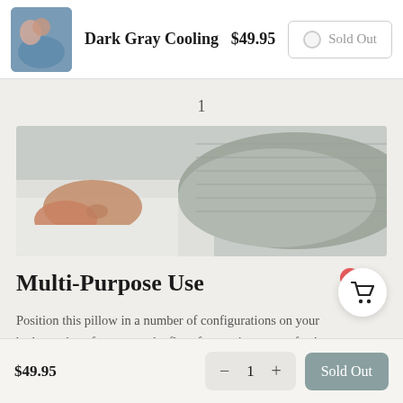[Figure (screenshot): Product listing bar showing thumbnail, product name Dark Gray Cooling, price $49.95, and a Sold Out button]
1
[Figure (photo): Close-up photo of person lying with gray body pillow on white bedding]
Multi-Purpose Use
Position this pillow in a number of configurations on your bed, couch, sofa, or even the floor for maximum comfort!
$49.95
1
Sold Out